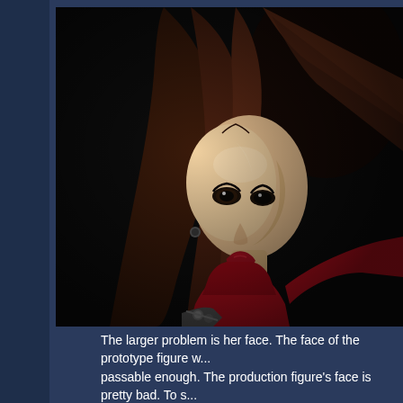[Figure (photo): Close-up photograph of a female action figure or doll with long dark brown hair, realistic facial features with red lipstick and dramatic eye makeup, wearing a red outfit, posed dynamically against a dark background with dramatic lighting. A metal accessory is visible at the bottom.]
The larger problem is her face. The face of the prototype figure w... passable enough. The production figure's face is pretty bad. To s... facial features and an unusual cheek and jaw structure that looks...